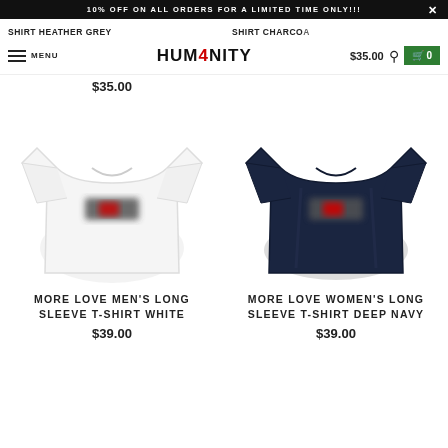10% OFF ON ALL ORDERS FOR A LIMITED TIME ONLY!!!
[Figure (screenshot): Navigation bar with hamburger menu, MENU text, HUM4NITY logo, $35.00 price, search icon, and green cart button showing 0]
SHIRT HEATHER GREY $35.00
SHIRT CHARCOAL $35.00
[Figure (photo): White long sleeve t-shirt with HUM4NITY logo on chest]
[Figure (photo): Deep navy long sleeve women's t-shirt with HUM4NITY logo on chest]
MORE LOVE MEN'S LONG SLEEVE T-SHIRT WHITE
$39.00
MORE LOVE WOMEN'S LONG SLEEVE T-SHIRT DEEP NAVY
$39.00